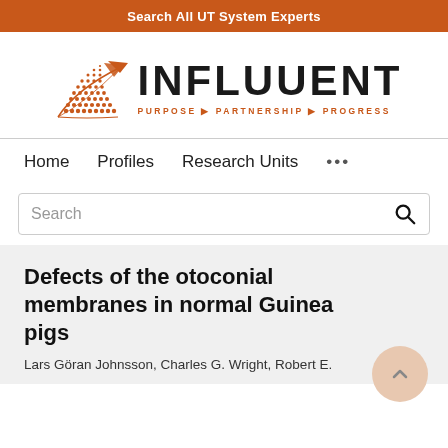Search All UT System Experts
[Figure (logo): Influuent logo with orange geometric triangle/arrow shape made of dots and lines, with text INFLUUENT and tagline PURPOSE ▶ PARTNERSHIP ▶ PROGRESS]
Home  Profiles  Research Units  ...
Search
Defects of the otoconial membranes in normal Guinea pigs
Lars Göran Johnsson, Charles G. Wright, Robert E.